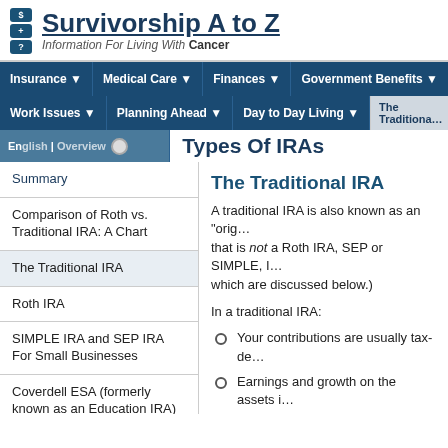Survivorship A to Z — Information For Living With Cancer
Insurance | Medical Care | Finances | Government Benefits | Work Issues | Planning Ahead | Day to Day Living | The Traditiona…
Types Of IRAs
The Traditional IRA
A traditional IRA is also known as an "orig… that is not a Roth IRA, SEP or SIMPLE, I… which are discussed below.)
In a traditional IRA:
Your contributions are usually tax-de…
Earnings and growth on the assets i…
Distributions, including the earnings a… taxed when they are distributed.
Summary
Comparison of Roth vs. Traditional IRA: A Chart
The Traditional IRA
Roth IRA
SIMPLE IRA and SEP IRA For Small Businesses
Coverdell ESA (formerly known as an Education IRA)